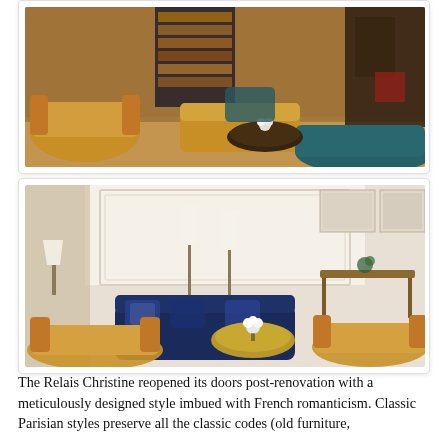[Figure (photo): Interior of a hotel lounge with golden/amber upholstered armchairs, teal blue sofa, dark round coffee table with white flowers, bookshelf in background, warm amber lighting]
[Figure (photo): Elegant hotel sitting room with navy blue velvet sofas with decorative pillows, golden brocade armchairs, round gilt coffee table with white flowers, white wainscoted walls, framed artwork, floor lamps]
The Relais Christine reopened its doors post-renovation with a meticulously designed style imbued with French romanticism. Classic Parisian styles preserve all the classic codes (old furniture,